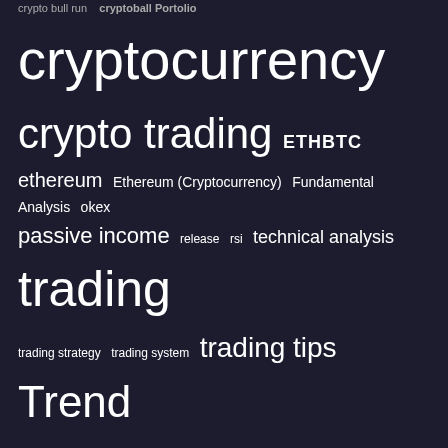crypto bull run   cryptoball Analysis
cryptocurrency  crypto trading  ETHBTC  ethereum  Ethereum (Cryptocurrency)  Fundamental Analysis  okex  passive income  release  rsi  technical analysis  trading  trading strategy  trading system  trading tips  Trend Analysis
Categories
Algorithmic Trading (21)
BNB-Binance Coin (1)
BTC-Bitcoin (3)
Ebook (2)
ETH-Ethereum (1)
Freebie (4)